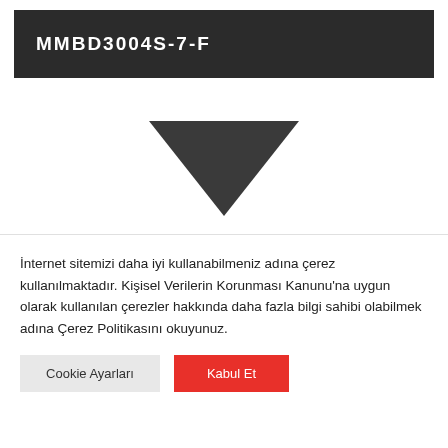MMBD3004S-7-F
[Figure (schematic): Partial view of an electronic component schematic showing a dark triangular shape (part of a diode/transistor symbol) at the bottom of the diagram area.]
İnternet sitemizi daha iyi kullanabilmeniz adına çerez kullanılmaktadır. Kişisel Verilerin Korunması Kanunu'na uygun olarak kullanılan çerezler hakkında daha fazla bilgi sahibi olabilmek adına Çerez Politikasını okuyunuz.
Cookie Ayarları
Kabul Et